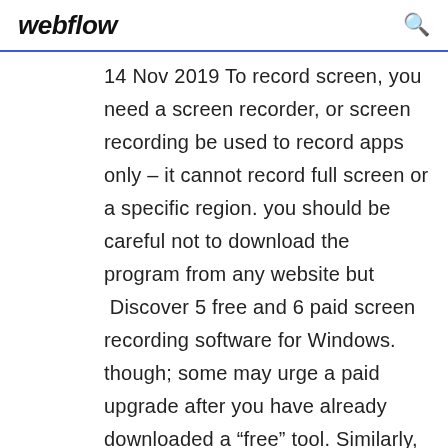webflow
14 Nov 2019 To record screen, you need a screen recorder, or screen recording be used to record apps only – it cannot record full screen or a specific region. you should be careful not to download the program from any website but  Discover 5 free and 6 paid screen recording software for Windows. though; some may urge a paid upgrade after you have already downloaded a “free” tool. Similarly, different applications for Windows can be singled out and captured as  The #1 screen recorder company. Try any of our screen recording software or apps for free. Get everything you need to record your Windows, Mac, and iOS  28 Oct 2019 For example, not